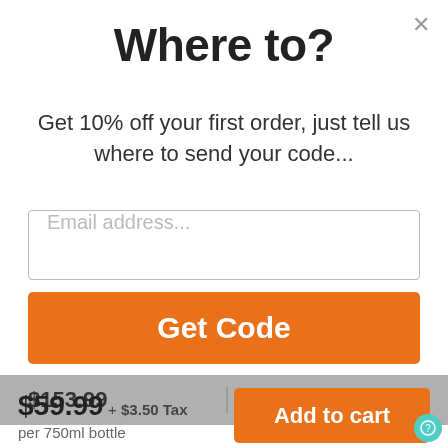Where to?
Get 10% off your first order, just tell us where to send your code...
Email address...
Get Code
| $153.99 | $143.99 |
$59.99 + $3.50 Tax per 750ml bottle
Add to cart